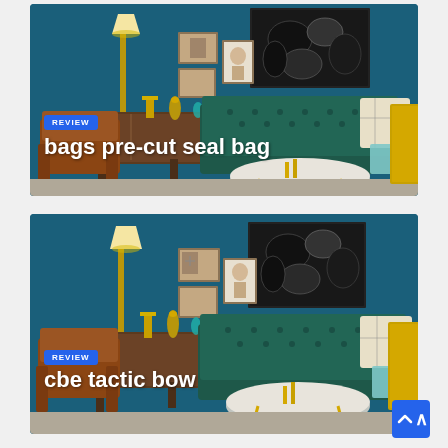[Figure (photo): Interior living room scene with teal tufted sofa, brown leather armchair, wooden sideboard, floor lamp, decorative art on dark blue wall — top card with REVIEW badge and title 'bags pre-cut seal bag']
[Figure (photo): Interior living room scene with teal tufted sofa, brown leather armchair, wooden sideboard, floor lamp, decorative art on dark blue wall — bottom card with REVIEW badge and title 'cbe tactic bow']